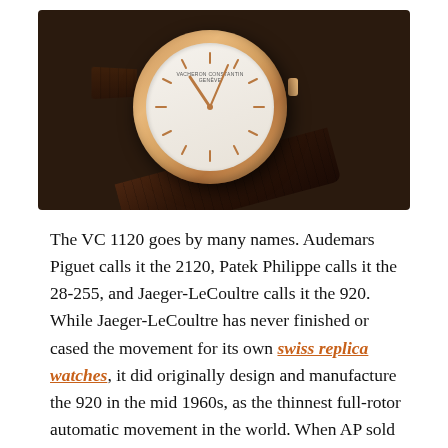[Figure (photo): A luxury Vacheron Constantin watch with rose gold case, white/cream dial with baton hour markers and rose gold hands, brown crocodile leather strap, photographed on dark fabric background.]
The VC 1120 goes by many names. Audemars Piguet calls it the 2120, Patek Philippe calls it the 28-255, and Jaeger-LeCoultre calls it the 920. While Jaeger-LeCoultre has never finished or cased the movement for its own swiss replica watches, it did originally design and manufacture the 920 in the mid 1960s, as the thinnest full-rotor automatic movement in the world. When AP sold its minority share of JLC to Richemont 12 years ago, they retained the rights of manufacture and ownership